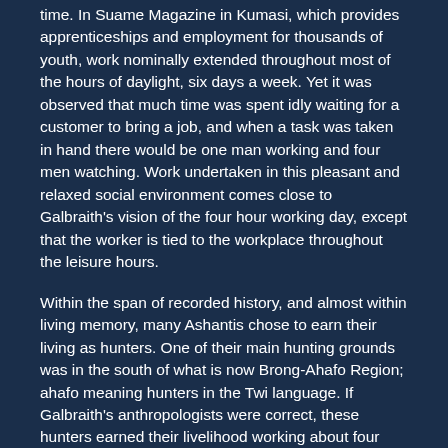time. In Suame Magazine in Kumasi, which provides apprenticeships and employment for thousands of youth, work nominally extended throughout most of the hours of daylight, six days a week. Yet it was observed that much time was spent idly waiting for a customer to bring a job, and when a task was taken in hand there would be one man working and four men watching. Work undertaken in this pleasant and relaxed social environment comes close to Galbraith's vision of the four hour working day, except that the worker is tied to the workplace throughout the leisure hours.
Within the span of recorded history, and almost within living memory, many Ashantis chose to earn their living as hunters. One of their main hunting grounds was in the south of what is now Brong-Ahafo Region; ahafo meaning hunters in the Twi language. If Galbraith's anthropologists were correct, these hunters earned their livelihood working about four hours a day, even if they spent longer hours wandering in social intercourse with their companions. According to Galbraith's theory, it might seem that their descendents